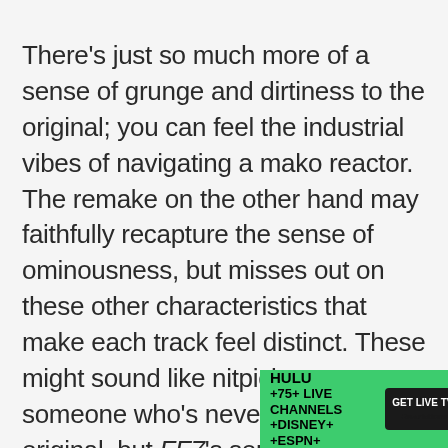There's just so much more of a sense of grunge and dirtiness to the original; you can feel the industrial vibes of navigating a mako reactor. The remake on the other hand may faithfully recapture the sense of ominousness, but misses out on these other characteristics that make each track feel distinct. These might sound like nitpicks to someone who's never played the original, but FF7's soundtrack is such an incredibly iconic and important element; the atmosphere that it creates adds so much to the impact of every scene in the game. On some level, it may be impossible to fully do the
[Figure (other): Hulu advertisement banner: green background with text 'HULU +75+ LIVE CHANNELS +DISNEY+ +ESPN+', a black CTA button 'GET LIVE TV NOW' with 'Restrictions apply.' below, and a black Hulu logo box with '+LIVE TV' text.]